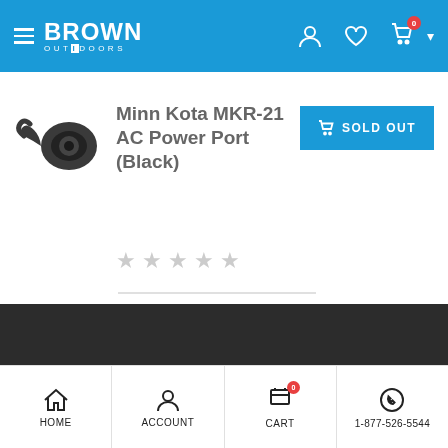Brown Outdoors - navigation header with hamburger menu, logo, user icon, wishlist icon, cart (0), and chevron
[Figure (photo): Product photo of Minn Kota MKR-21 AC Power Port (Black) - a dark-colored round power port connector]
Minn Kota MKR-21 AC Power Port (Black)
SOLD OUT
Star rating: 0 out of 5 (empty stars)
HOME | ACCOUNT | CART (0) | 1-877-526-5544